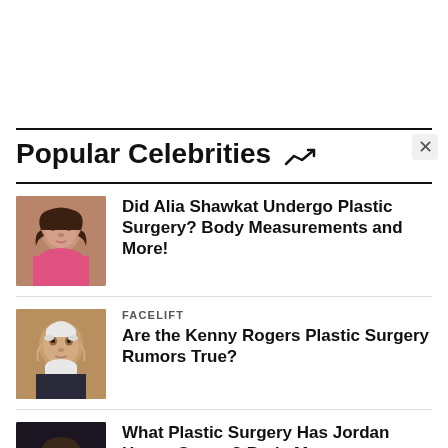Popular Celebrities
Did Alia Shawkat Undergo Plastic Surgery? Body Measurements and More!
FACELIFT
Are the Kenny Rogers Plastic Surgery Rumors True?
What Plastic Surgery Has Jordan Hayes Gotten? Body Measurements and Wiki